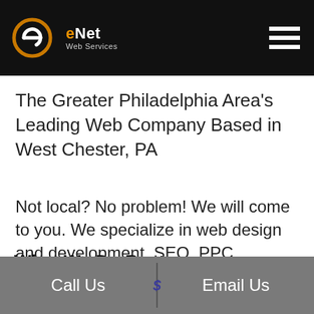eNet Web Services — navigation header
The Greater Philadelphia Area's Leading Web Company Based in West Chester, PA
Not local? No problem! We will come to you. We specialize in web design and development, SEO, PPC advertising, and web site optimization.
What We Do Best
[Figure (photo): Partial view of an image below the What We Do Best section header]
Call Us | Email Us